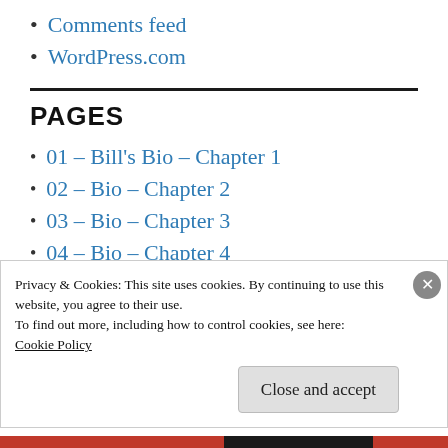Comments feed
WordPress.com
PAGES
01 – Bill's Bio – Chapter 1
02 – Bio – Chapter 2
03 – Bio – Chapter 3
04 – Bio – Chapter 4
Privacy & Cookies: This site uses cookies. By continuing to use this website, you agree to their use.
To find out more, including how to control cookies, see here:
Cookie Policy
Close and accept